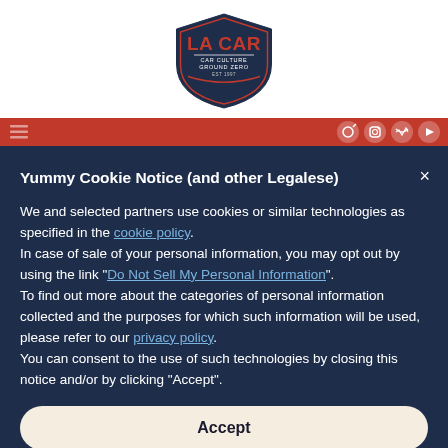[Figure (logo): LA CAR shield logo with text 'CAR CULTURE GROUND ZERO EST 1997']
Yummy Cookie Notice (and other Legalese)
We and selected partners use cookies or similar technologies as specified in the cookie policy. In case of sale of your personal information, you may opt out by using the link "Do Not Sell My Personal Information". To find out more about the categories of personal information collected and the purposes for which such information will be used, please refer to our privacy policy. You can consent to the use of such technologies by closing this notice and/or by clicking "Accept".
Accept